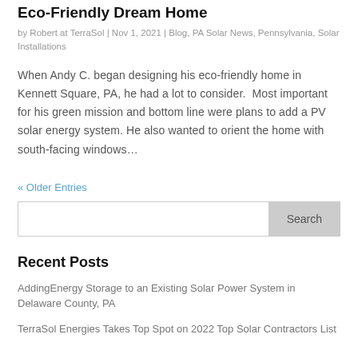Eco-Friendly Dream Home
by Robert at TerraSol | Nov 1, 2021 | Blog, PA Solar News, Pennsylvania, Solar Installations
When Andy C. began designing his eco-friendly home in Kennett Square, PA, he had a lot to consider.  Most important for his green mission and bottom line were plans to add a PV solar energy system. He also wanted to orient the home with south-facing windows…
« Older Entries
Search
Recent Posts
AddingEnergy Storage to an Existing Solar Power System in Delaware County, PA
TerraSol Energies Takes Top Spot on 2022 Top Solar Contractors List